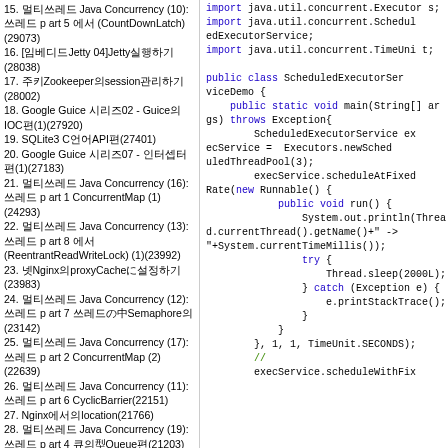15. 멀티쓰레드 Java Concurrency (10): 쓰레드 part 5 에서 (CountDownLatch)(29073)
16. [임베디드Jetty 04]Jetty실행하기(28038)
17. 주키Zookeeper의session관리하기(28002)
18. Google Guice 시리즈02 - Guice의IOC편(1)(27920)
19. SQLite3 C언어API편(27401)
20. Google Guice 시리즈07 - 인터셉터편(1)(27183)
21. 멀티쓰레드 Java Concurrency (16): 쓰레드 part 1 ConcurrentMap (1)(24293)
22. 멀티쓰레드 Java Concurrency (13): 쓰레드 part 8 에서 (ReentrantReadWriteLock) (1)(23992)
23. 넷Nginx의proxyCacheに설정하기(23983)
24. 멀티쓰레드 Java Concurrency (12): 쓰레드 part 7 쓰레드の中Semaphore의(23142)
25. 멀티쓰레드 Java Concurrency (17): 쓰레드 part 2 ConcurrentMap (2)(22639)
26. 멀티쓰레드 Java Concurrency (11): 쓰레드 part 6 CyclicBarrier(22151)
27. Nginx에서의location(21766)
28. 멀티쓰레드 Java Concurrency (19): 쓰레드 part 4 큐의型Queue편(21203)
29. 멀티쓰레드 Java Concurrency (18): 쓰레드 part 3 ConcurrentMap (3)(20750)
30. 실행파일jar실행하기방법(20525)
31. Google Guice 시리즈02 - 설명(2)(20267)
32. 멀티쓰레드 Java Concurrency (14): 쓰레드 part 9 에서 (ReentrantReadWriteLock) (2)(20103)
33. Apache에서Ant 1.8.0RC1(19810)
34. 멀티쓰레드 Java Concurrency (20): 쓰레드 part 5 ConcurrentLinkedQueue(19734)
35. Google Guice 시리즈08 - 인터셉터편(2)(10798)
[Figure (screenshot): Java code snippet showing ScheduledExecutorService usage with imports and class definition]